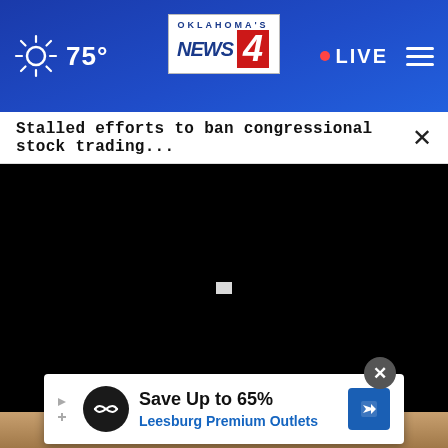Oklahoma's News 4 — 75° — LIVE
Stalled efforts to ban congressional stock trading...
[Figure (screenshot): Black video player area with a small white loading/buffering spinner in the center]
[Figure (photo): Bottom portion showing a person's face/hair, partially visible]
Save Up to 65%
Leesburg Premium Outlets